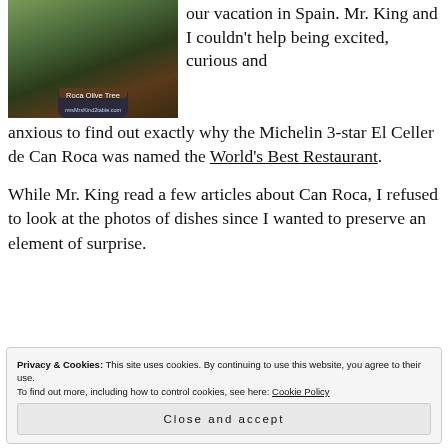[Figure (photo): Photo of a Roca Olive Tree bonsai in a dark pot, with text overlay 'Roca Olive Tree' and a website URL at the bottom.]
our vacation in Spain. Mr. King and I couldn't help being excited, curious and anxious to find out exactly why the Michelin 3-star El Celler de Can Roca was named the World's Best Restaurant.
While Mr. King read a few articles about Can Roca, I refused to look at the photos of dishes since I wanted to preserve an element of surprise.
Privacy & Cookies: This site uses cookies. By continuing to use this website, you agree to their use.
To find out more, including how to control cookies, see here: Cookie Policy
Close and accept